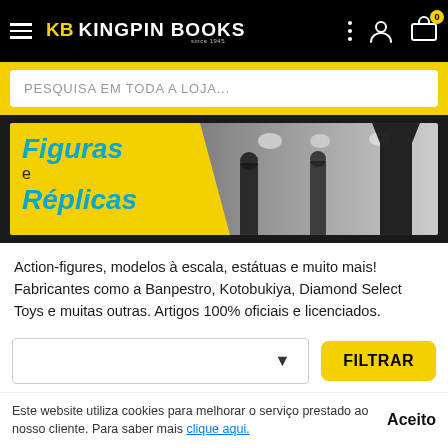KB KINGPIN BOOKS
PESQUISA EM TODA A LOJA...
[Figure (illustration): Figuras e Réplicas banner with yellow diagonal shape and black-and-white photo of action figures]
Action-figures, modelos à escala, estátuas e muito mais! Fabricantes como a Banpestro, Kotobukiya, Diamond Select Toys e muitas outras. Artigos 100% oficiais e licenciados.
FILTRAR
Mostrando 24 de um total de 80 artigo(s)
Este website utiliza cookies para melhorar o serviço prestado ao nosso cliente. Para saber mais clique aqui.